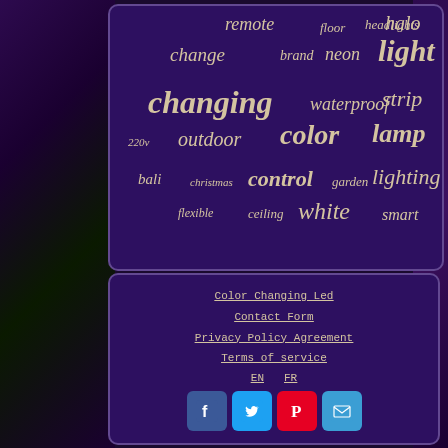[Figure (infographic): Word cloud on dark purple background containing LED lighting related keywords in varying sizes. Words include: remote, floor, headlights, halo, change, brand, neon, light, changing, waterproof, strip, 220v, outdoor, color, lamp, bali, christmas, control, garden, lighting, flexible, ceiling, white, smart]
Color Changing Led
Contact Form
Privacy Policy Agreement
Terms of service
EN   FR
[Figure (infographic): Social media icon buttons: Facebook (blue), Twitter (light blue), Pinterest (red), Email (blue)]